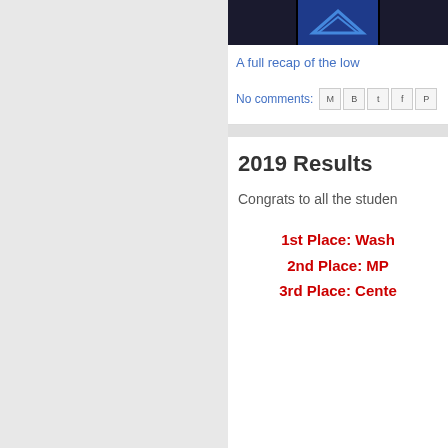[Figure (logo): Logo image with dark blue background and emblem, partially cropped]
A full recap of the low
No comments:
2019 Results
Congrats to all the studen
1st Place: Wash
2nd Place: MP
3rd Place: Cente